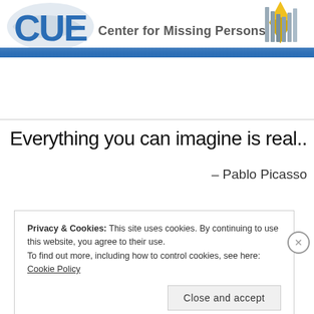[Figure (logo): CUE Center for Missing Persons logo banner with blue text 'CUE', tagline 'Center for Missing Persons', blue horizontal band, and yellow ribbon icon on right side with grey silhouette figures]
Everything you can imagine is real..
– Pablo Picasso
Privacy & Cookies: This site uses cookies. By continuing to use this website, you agree to their use.
To find out more, including how to control cookies, see here: Cookie Policy
Close and accept